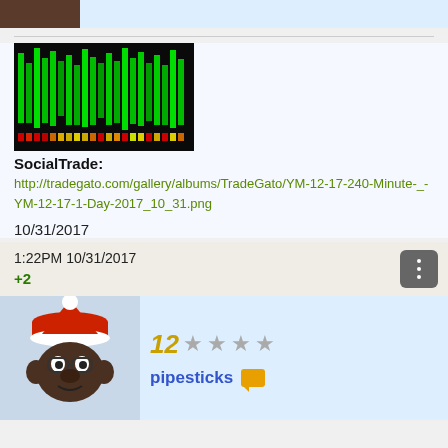[Figure (screenshot): Top navigation bar with brown/dark image thumbnail on left and light blue background]
[Figure (screenshot): Trading chart screenshot showing green candlestick/market data visualization with colored bars on dark background]
SocialTrade:
http://tradegato.com/gallery/albums/TradeGato/YM-12-17-240-Minute-_-YM-12-17-1-Day-2017_10_31.png
10/31/2017
1:22PM 10/31/2017
+2
[Figure (photo): User avatar: monkey wearing a red santa hat, profile photo in light blue background row]
12 ★★★★
pipesticks